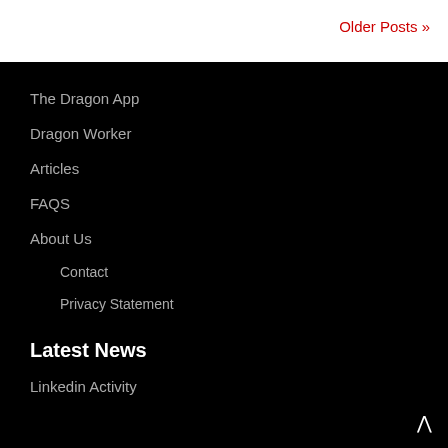Older Posts »
The Dragon App
Dragon Worker
Articles
FAQS
About Us
Contact
Privacy Statement
Latest News
Linkedin Activity